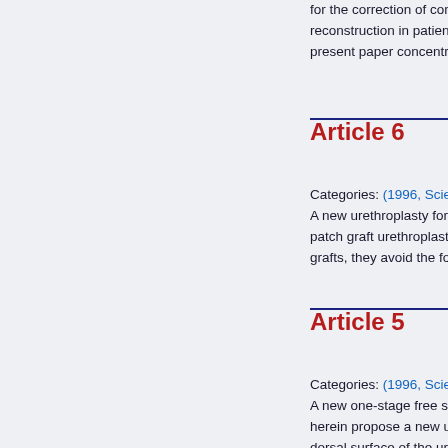for the correction of complex peni... reconstruction in patients with hyp... present paper concentrates [...]
Article 6
Categories: (1996, Scientific Artic... A new urethroplasty for penile an... patch graft urethroplasty are eas... grafts, they avoid the formation of...
Article 5
Categories: (1996, Scientific Artic... A new one-stage free skin patch g... herein propose a new urethroplasty... dorsal surface of the urethral inste...
Article 4
Categories: (1996, Scientific Artic...